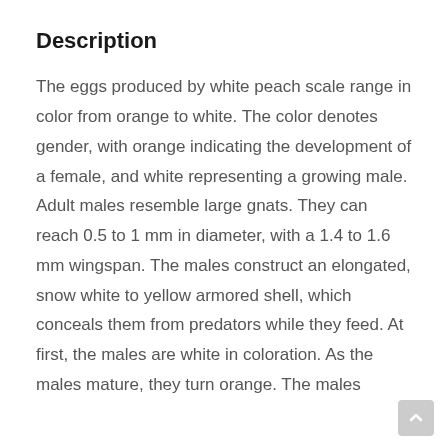Description
The eggs produced by white peach scale range in color from orange to white. The color denotes gender, with orange indicating the development of a female, and white representing a growing male. Adult males resemble large gnats. They can reach 0.5 to 1 mm in diameter, with a 1.4 to 1.6 mm wingspan. The males construct an elongated, snow white to yellow armored shell, which conceals them from predators while they feed. At first, the males are white in coloration. As the males mature, they turn orange. The males